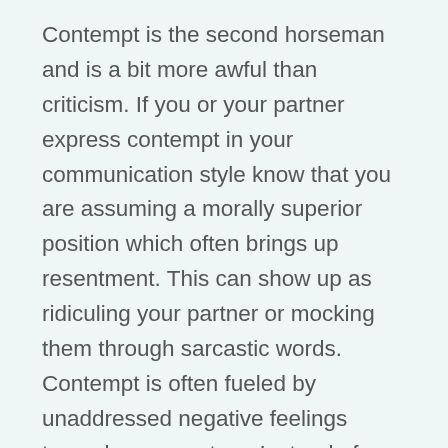Contempt is the second horseman and is a bit more awful than criticism. If you or your partner express contempt in your communication style know that you are assuming a morally superior position which often brings up resentment. This can show up as ridiculing your partner or mocking them through sarcastic words. Contempt is often fueled by unaddressed negative feelings towards your partner. Instead of approaching a conflict with contempt, it is important to state the qualities that you like in your partner by starting off recognizing the positive things they do. It is also important to address small conflicts as they arise to avoid stewing over insignificant things. This can lower distress and improve